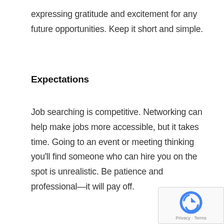expressing gratitude and excitement for any future opportunities. Keep it short and simple.
Expectations
Job searching is competitive. Networking can help make jobs more accessible, but it takes time. Going to an event or meeting thinking you’ll find someone who can hire you on the spot is unrealistic. Be patience and professional—it will pay off.